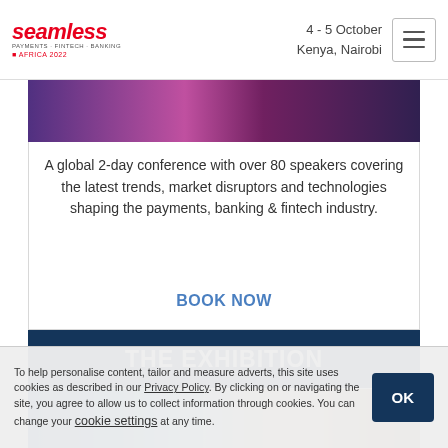seamless PAYMENTS · FINTECH · BANKING AFRICA 2022 | 4 - 5 October Kenya, Nairobi
[Figure (photo): Cropped photo strip showing hands or event scene with purple/magenta tones]
A global 2-day conference with over 80 speakers covering the latest trends, market disruptors and technologies shaping the payments, banking & fintech industry.
BOOK NOW
THE EXHIBITION
[Figure (photo): Exhibition floor photo showing people in traditional dress at a trade show with blue/white display stands]
To help personalise content, tailor and measure adverts, this site uses cookies as described in our Privacy Policy. By clicking on or navigating the site, you agree to allow us to collect information through cookies. You can change your cookie settings at any time.